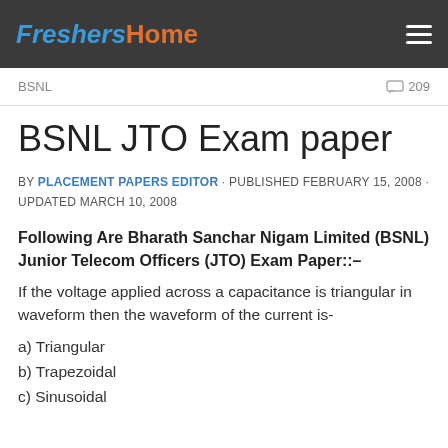FreshersHome
BSNL   209
BSNL JTO Exam paper
BY PLACEMENT PAPERS EDITOR · PUBLISHED FEBRUARY 15, 2008 · UPDATED MARCH 10, 2008
Following Are Bharath Sanchar Nigam Limited (BSNL) Junior Telecom Officers (JTO) Exam Paper::–
If the voltage applied across a capacitance is triangular in waveform then the waveform of the current is-
a) Triangular
b) Trapezoidal
c) Sinusoidal